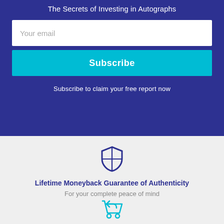The Secrets of Investing in Autographs
Your email
Subscribe
Subscribe to claim your free report now
[Figure (illustration): Shield icon with cross divider in dark blue outline style]
Lifetime Moneyback Guarantee of Authenticity
For your complete peace of mind
[Figure (illustration): Shopping cart with return arrow icon in teal/cyan outline style]